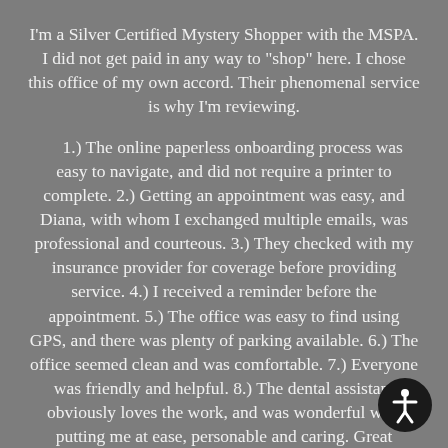I'm a Silver Certified Mystery Shopper with the MSPA. I did not get paid in any way to "shop" here. I chose this office of my own accord. Their phenomenal service is why I'm reviewing.
1.) The online paperless onboarding process was easy to navigate, and did not require a printer to complete. 2.) Getting an appointment was easy, and Diana, with whom I exchanged multiple emails, was professional and courteous. 3.) They checked with my insurance provider for coverage before providing service. 4.) I received a reminder before the appointment. 5.) The office was easy to find using GPS, and there was plenty of parking available. 6.) The office seemed clean and was comfortable. 7.) Everyone was friendly and helpful. 8.) The dental assistant obviously loves the work, and was wonderful with putting me at ease, personable and caring. Great attitude! 9.) Dr. Haj-Ali was informative and caring. I appreciated the attention to my questions and understanding of my concerns. Excellent! High marks all around!